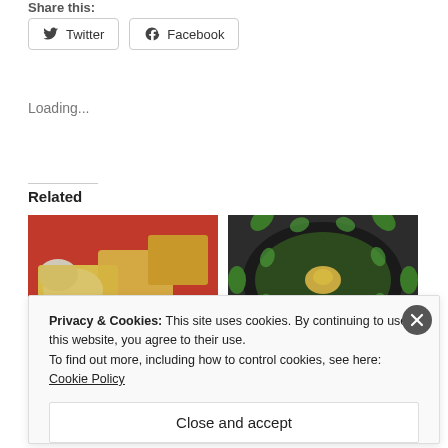Share this:
Twitter  Facebook
Loading...
Related
[Figure (photo): Food photo showing chunks of potato, fish and other ingredients on a red plate]
[Figure (photo): Food photo showing stuffed green leaf rolls arranged in a circular pattern in a dark bowl]
Privacy & Cookies: This site uses cookies. By continuing to use this website, you agree to their use.
To find out more, including how to control cookies, see here:
Cookie Policy
Close and accept